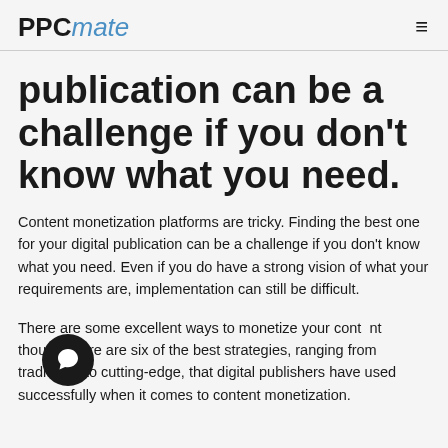PPCmate
publication can be a challenge if you don't know what you need.
Content monetization platforms are tricky. Finding the best one for your digital publication can be a challenge if you don't know what you need. Even if you do have a strong vision of what your requirements are, implementation can still be difficult.
There are some excellent ways to monetize your content though. Here are six of the best strategies, ranging from traditional to cutting-edge, that digital publishers have used successfully when it comes to content monetization.